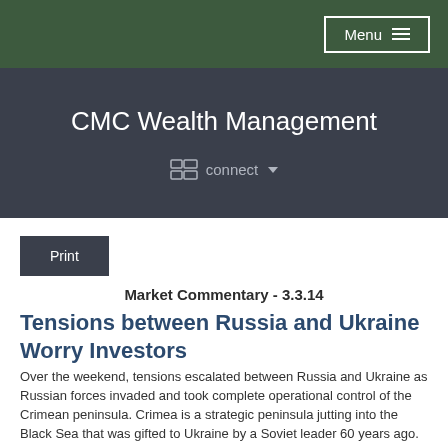Menu
CMC Wealth Management
connect
Print
Market Commentary - 3.3.14
Tensions between Russia and Ukraine Worry Investors
Over the weekend, tensions escalated between Russia and Ukraine as Russian forces invaded and took complete operational control of the Crimean peninsula. Crimea is a strategic peninsula jutting into the Black Sea that was gifted to Ukraine by a Soviet leader 60 years ago.